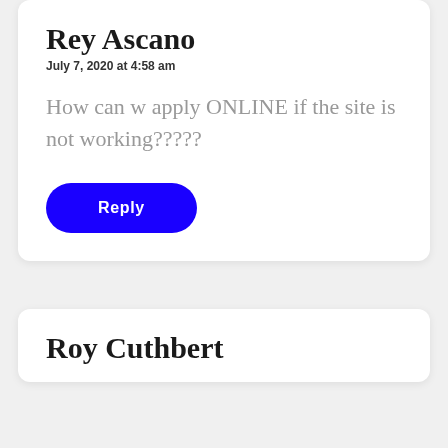Rey Ascano
July 7, 2020 at 4:58 am
How can w apply ONLINE if the site is not working?????
Reply
Roy Cuthbert